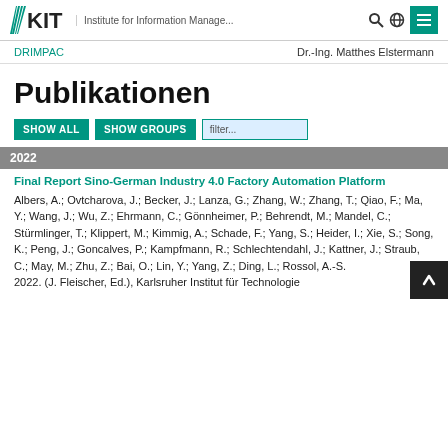KIT — Institute for Information Manage... | DRIMPAC | Dr.-Ing. Matthes Elstermann
Publikationen
SHOW ALL  SHOW GROUPS  filter...
2022
Final Report Sino-German Industry 4.0 Factory Automation Platform
Albers, A.; Ovtcharova, J.; Becker, J.; Lanza, G.; Zhang, W.; Zhang, T.; Qiao, F.; Ma, Y.; Wang, J.; Wu, Z.; Ehrmann, C.; Gönnheimer, P.; Behrendt, M.; Mandel, C.; Stürmlinger, T.; Klippert, M.; Kimmig, A.; Schade, F.; Yang, S.; Heider, I.; Xie, S.; Song, K.; Peng, J.; Goncalves, P.; Kampfmann, R.; Schlechtendahl, J.; Kattner, J.; Straub, C.; May, M.; Zhu, Z.; Bai, O.; Lin, Y.; Yang, Z.; Ding, L.; Rossol, A.-S.
2022. (J. Fleischer, Ed.), Karlsruher Institut für Technologie